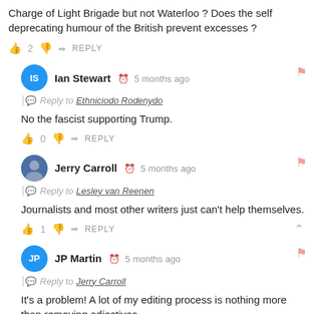Charge of Light Brigade but not Waterloo ? Does the self deprecating humour of the British prevent excesses ?
👍 2  👎  → REPLY
Ian Stewart  🕐 5 months ago
Reply to Ethniciodo Rodenydo
No the fascist supporting Trump.
👍 0  👎  → REPLY
Jerry Carroll  🕐 5 months ago
Reply to Lesley van Reenen
Journalists and most other writers just can't help themselves.
👍 1  👎  → REPLY
JP Martin  🕐 5 months ago
Reply to Jerry Carroll
It's a problem! A lot of my editing process is nothing more than removing adjectives.